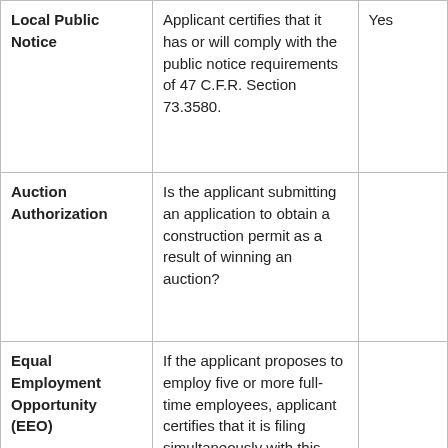| Section | Description |  |
| --- | --- | --- |
| Local Public Notice | Applicant certifies that it has or will comply with the public notice requirements of 47 C.F.R. Section 73.3580. | Yes |
| Auction Authorization | Is the applicant submitting an application to obtain a construction permit as a result of winning an auction? |  |
| Equal Employment Opportunity (EEO) | If the applicant proposes to employ five or more full-time employees, applicant certifies that it is filing simultaneously with this application... |  |